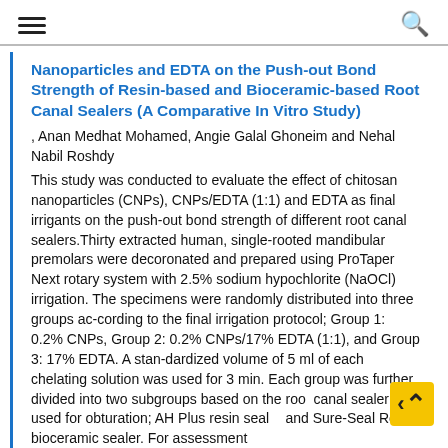☰  🔍
Nanoparticles and EDTA on the Push-out Bond Strength of Resin-based and Bioceramic-based Root Canal Sealers (A Comparative In Vitro Study)
, Anan Medhat Mohamed, Angie Galal Ghoneim and Nehal Nabil Roshdy
This study was conducted to evaluate the effect of chitosan nanoparticles (CNPs), CNPs/EDTA (1:1) and EDTA as final irrigants on the push-out bond strength of different root canal sealers.Thirty extracted human, single-rooted mandibular premolars were decoronated and prepared using ProTaper Next rotary system with 2.5% sodium hypochlorite (NaOCl) irrigation. The specimens were randomly distributed into three groups ac-cording to the final irrigation protocol; Group 1: 0.2% CNPs, Group 2: 0.2% CNPs/17% EDTA (1:1), and Group 3: 17% EDTA. A stan-dardized volume of 5 ml of each chelating solution was used for 3 min. Each group was further divided into two subgroups based on the root canal sealer used for obturation; AH Plus resin sealer and Sure-Seal Root bioceramic sealer. For assessment